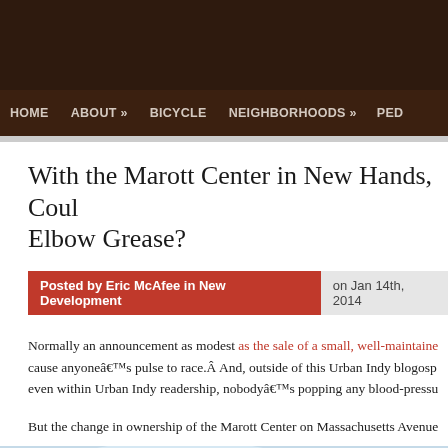HOME   ABOUT »   BICYCLE   NEIGHBORHOODS »   PED
With the Marott Center in New Hands, Could Elbow Grease?
Posted by Eric McAfee in New Development   on Jan 14th, 2014
Normally an announcement as modest as the sale of a small, well-maintained cause anyone's pulse to race.  And, outside of this Urban Indy blogosp even within Urban Indy readership, nobody's popping any blood-pressu
But the change in ownership of the Marott Center on Massachusetts Avenue
[Figure (photo): Exterior photo of the Marott Center building on Massachusetts Avenue, showing upper floors and windows against a blue sky]